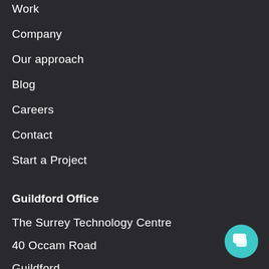Work
Company
Our approach
Blog
Careers
Contact
Start a Project
Guildford Office
The Surrey Technology Centre
40 Occam Road
Guildford
Surrey
GU2 7YG
[Figure (illustration): Teal circular chat button with speech bubble icon in bottom-right corner]